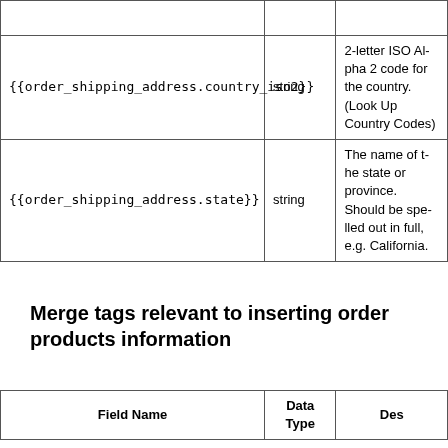| Field Name | Data Type | Description |
| --- | --- | --- |
|  |  |  |
| {{order_shipping_address.country_iso2}} | string | 2-letter ISO Alpha 2 code for the country. (Look Up Country Codes) |
| {{order_shipping_address.state}} | string | The name of the state or province. Should be spelled out in full, e.g. California. |
Merge tags relevant to inserting order products information
| Field Name | Data Type | Description |
| --- | --- | --- |